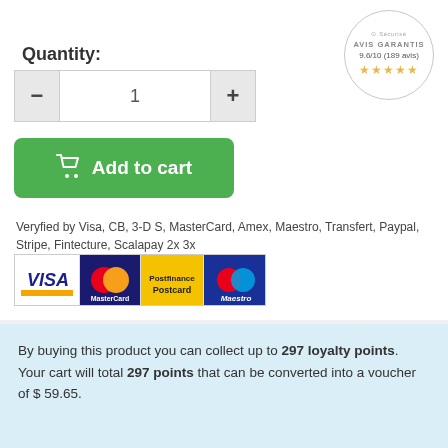[Figure (other): Avis Garantis badge - circular badge showing score 9.6/10 (189 avis) with 4.5 gold stars]
Quantity:
[Figure (other): Quantity selector with minus button, input field showing 1, and plus button]
[Figure (other): Green Add to cart button with shopping cart icon]
Veryfied by Visa, CB, 3-D S, MasterCard, Amex, Maestro, Transfert, Paypal, Stripe, Fintecture, Scalapay 2x 3x
[Figure (other): Payment logos: VISA, MasterCard, Postcard, Maestro]
By buying this product you can collect up to 297 loyalty points. Your cart will total 297 points that can be converted into a voucher of $ 59.65.